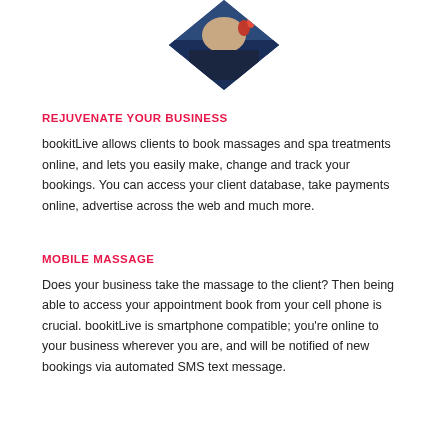[Figure (photo): Diamond-shaped cropped photo showing a person receiving a massage or spa treatment, visible from above with hands and dark clothing]
REJUVENATE YOUR BUSINESS
bookitLive allows clients to book massages and spa treatments online, and lets you easily make, change and track your bookings. You can access your client database, take payments online, advertise across the web and much more.
MOBILE MASSAGE
Does your business take the massage to the client? Then being able to access your appointment book from your cell phone is crucial. bookitLive is smartphone compatible; you're online to your business wherever you are, and will be notified of new bookings via automated SMS text message.